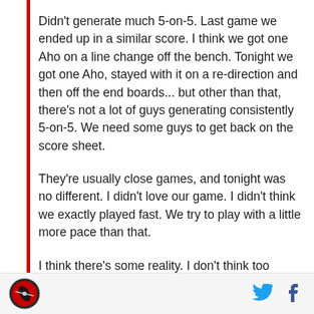Didn't generate much 5-on-5. Last game we ended up in a similar score. I think we got one Aho on a line change off the bench. Tonight we got one Aho, stayed with it on a re-direction and then off the end boards... but other than that, there's not a lot of guys generating consistently 5-on-5. We need some guys to get back on the score sheet.
They're usually close games, and tonight was no different. I didn't love our game. I didn't think we exactly played fast. We try to play with a little more pace than that.
I think there's some reality. I don't think too many guys in the room are happy about the way we played
[Figure (logo): Sports team logo - circular red and black emblem]